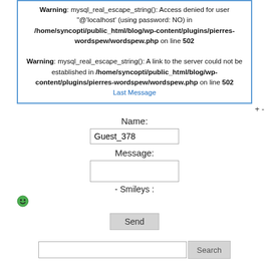Warning: mysql_real_escape_string(): Access denied for user "@'localhost' (using password: NO) in /home/syncopti/public_html/blog/wp-content/plugins/pierres-wordspew/wordspew.php on line 502
Warning: mysql_real_escape_string(): A link to the server could not be established in /home/syncopti/public_html/blog/wp-content/plugins/pierres-wordspew/wordspew.php on line 502
Last Message
+ -
Name:
Guest_378
Message:
- Smileys :
[Figure (illustration): Green smiley face emoji icon]
Send
Search